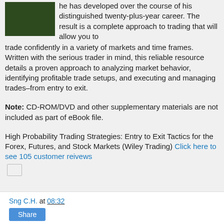[Figure (photo): Small green book cover thumbnail in top-left]
he has developed over the course of his distinguished twenty-plus-year career. The result is a complete approach to trading that will allow you to trade confidently in a variety of markets and time frames. Written with the serious trader in mind, this reliable resource details a proven approach to analyzing market behavior, identifying profitable trade setups, and executing and managing trades–from entry to exit.
Note: CD-ROM/DVD and other supplementary materials are not included as part of eBook file.
High Probability Trading Strategies: Entry to Exit Tactics for the Forex, Futures, and Stock Markets (Wiley Trading) Click here to see 105 customer reivews
Sng C.H. at 08:32
Share